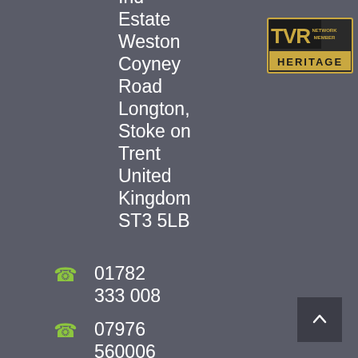Ind Estate Weston Coyney Road Longton, Stoke on Trent United Kingdom ST3 5LB
[Figure (logo): TVR Network Member Heritage logo badge with gold border and gold text on dark background]
01782 333 008
07976 560006